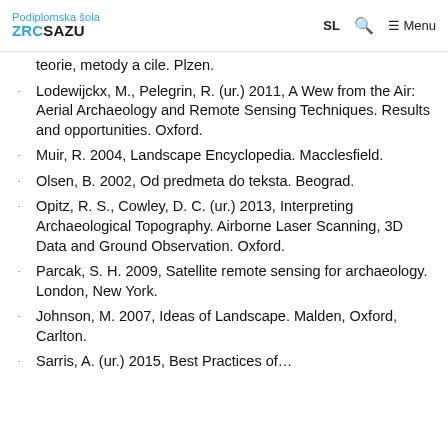Podiplomska šola ZRC SAZU | SL | Search | Menu
teorie, metody a cile. Plzen.
Lodewijckx, M., Pelegrin, R. (ur.) 2011, A Wew from the Air: Aerial Archaeology and Remote Sensing Techniques. Results and opportunities. Oxford.
Muir, R. 2004, Landscape Encyclopedia. Macclesfield.
Olsen, B. 2002, Od predmeta do teksta. Beograd.
Opitz, R. S., Cowley, D. C. (ur.) 2013, Interpreting Archaeological Topography. Airborne Laser Scanning, 3D Data and Ground Observation. Oxford.
Parcak, S. H. 2009, Satellite remote sensing for archaeology. London, New York.
Johnson, M. 2007, Ideas of Landscape. Malden, Oxford, Carlton.
Sarris, A. (ur.) 2015, Best Practices of…